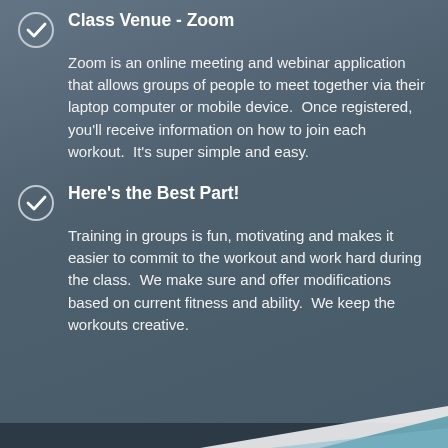Class Venue - Zoom
Zoom is an online meeting and webinar application that allows groups of people to meet together via their laptop computer or mobile device.  Once registered, you'll receive information on how to join each workout.  It's super simple and easy.
Here's the Best Part!
Training in groups is fun, motivating and makes it easier to commit to the workout and work hard during the class.  We make sure and offer modifications based on current fitness and ability.  We keep the workouts creative.